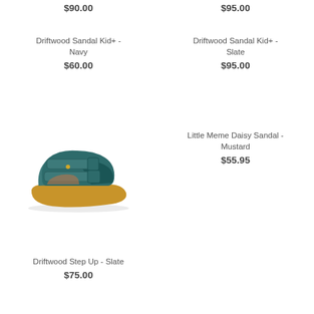$90.00
$95.00
Driftwood Sandal Kid+ - Navy
$60.00
Driftwood Sandal Kid+ - Slate
$95.00
[Figure (photo): Teal/slate leather children's sandal with velcro straps and tan rubber sole]
Little Meme Daisy Sandal - Mustard
$55.95
Driftwood Step Up - Slate
$75.00